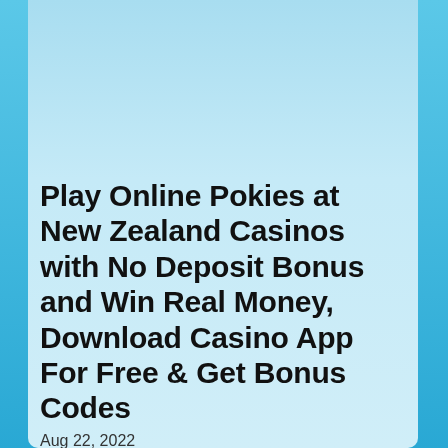[Figure (photo): Red 3D 'BONUS' text letters on white background, partially cropped at top]
Play Online Pokies at New Zealand Casinos with No Deposit Bonus and Win Real Money, Download Casino App For Free & Get Bonus Codes
Aug 22, 2022
You might have heard about the gambling world where you will get the immense feel of joy and will make the spare time into entertaining world. I found myself lucky that I got the name of these things. Thanks to my uncle who insisted me to go for the